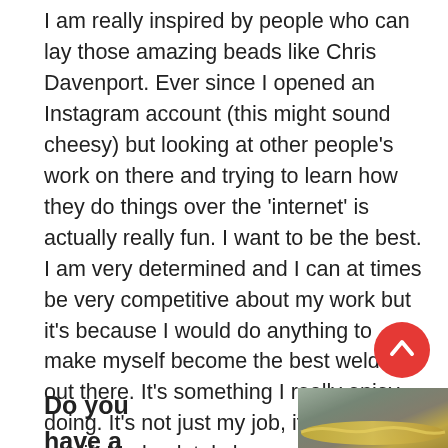I am really inspired by people who can lay those amazing beads like Chris Davenport. Ever since I opened an Instagram account (this might sound cheesy) but looking at other people's work on there and trying to learn how they do things over the 'internet' is actually really fun. I want to be the best. I am very determined and I can at times be very competitive about my work but it's because I would do anything to make myself become the best welder out there. It's something I really enjoy doing. It's not just my job, its art and it's my life! I absolutely love welding!
[Figure (other): Red circular scroll-to-top button with a white upward chevron arrow]
Do you have a favorite piece that
[Figure (photo): Close-up photo of a weld bead on metal, showing golden/bronze weld with metallic surface texture]